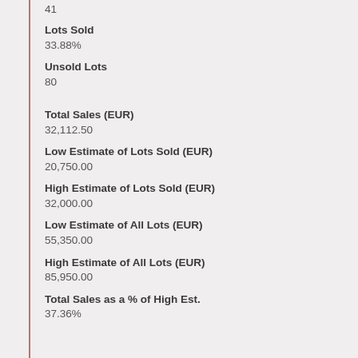41
Lots Sold
33.88%
Unsold Lots
80
Total Sales (EUR)
32,112.50
Low Estimate of Lots Sold (EUR)
20,750.00
High Estimate of Lots Sold (EUR)
32,000.00
Low Estimate of All Lots (EUR)
55,350.00
High Estimate of All Lots (EUR)
85,950.00
Total Sales as a % of High Est.
37.36%